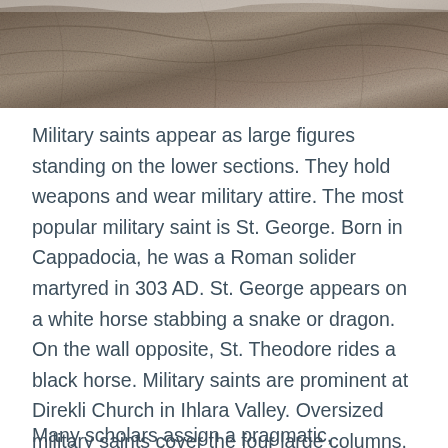[Figure (photo): Partial view of a textured stone or rock surface, cropped at the top of the page, showing earthy tones of brown, grey, and beige]
Military saints appear as large figures standing on the lower sections. They hold weapons and wear military attire. The most popular military saint is St. George. Born in Cappadocia, he was a Roman solider martyred in 303 AD. St. George appears on a white horse stabbing a snake or dragon. On the wall opposite, St. Theodore rides a black horse. Military saints are prominent at Direkli Church in Ihlara Valley. Oversized military saints cover the four large columns.
Many scholars assign a pragmatic,